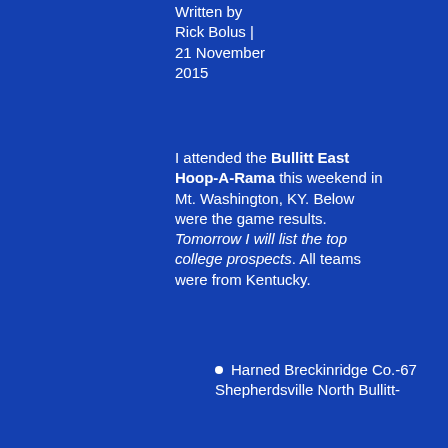Written by Rick Bolus | 21 November 2015
I attended the Bullitt East Hoop-A-Rama this weekend in Mt. Washington, KY. Below were the game results. Tomorrow I will list the top college prospects. All teams were from Kentucky.
Harned Breckinridge Co.-67  Shepherdsville North Bullitt-